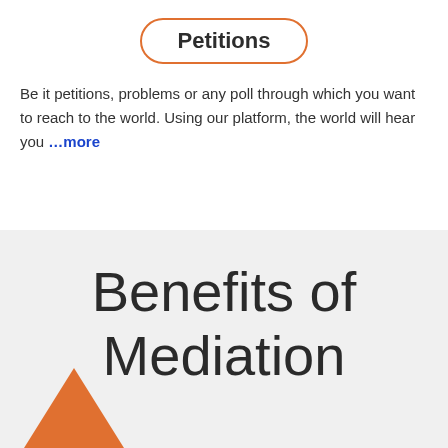Petitions
Be it petitions, problems or any poll through which you want to reach to the world. Using our platform, the world will hear you …more
Benefits of Mediation
[Figure (illustration): Orange triangle/diamond shape partially visible at bottom left]